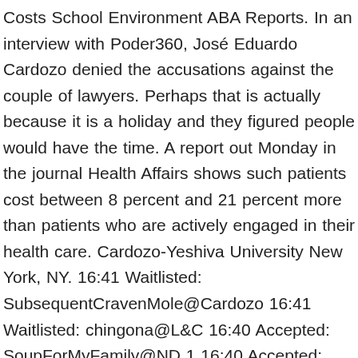Costs School Environment ABA Reports. In an interview with Poder360, José Eduardo Cardozo denied the accusations against the couple of lawyers. Perhaps that is actually because it is a holiday and they figured people would have the time. A report out Monday in the journal Health Affairs shows such patients cost between 8 percent and 21 percent more than patients who are actively engaged in their health care. Cardozo-Yeshiva University New York, NY. 16:41 Waitlisted: SubsequentCravenMole@Cardozo 16:41 Waitlisted: chingona@L&C 16:40 Accepted: SoupForMyFamily@ND 1 16:40 Accepted: anon2020@UCLA 4 16:39 Accepted: WildHorses@Cornell University 2 1. Close. "The Beauty of the Jewish tradition is that it is not always precise and consistent," says Rabbi Dr. Nathan Lopes Cardozo. Posted by <4.0/<180.